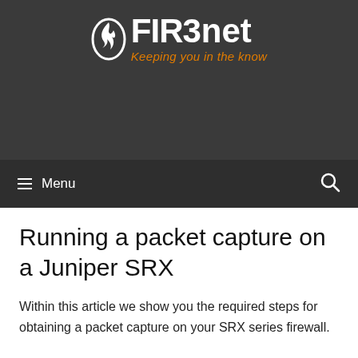[Figure (logo): FIR3NET logo with flame icon and tagline 'Keeping you in the know' on dark background]
☰ Menu
Running a packet capture on a Juniper SRX
Within this article we show you the required steps for obtaining a packet capture on your SRX series firewall.